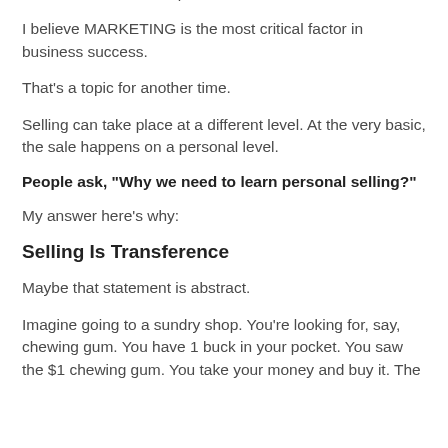But I have a different opinion now.
I believe MARKETING is the most critical factor in business success.
That's a topic for another time.
Selling can take place at a different level. At the very basic, the sale happens on a personal level.
People ask, "Why we need to learn personal selling?"
My answer here's why:
Selling Is Transference
Maybe that statement is abstract.
Imagine going to a sundry shop. You're looking for, say, chewing gum. You have 1 buck in your pocket. You saw the $1 chewing gum. You take your money and buy it. The...